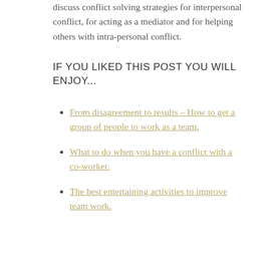discuss conflict solving strategies for interpersonal conflict, for acting as a mediator and for helping others with intra-personal conflict.
IF YOU LIKED THIS POST YOU WILL ENJOY...
From disagreement to results – How to get a group of people to work as a team.
What to do when you have a conflict with a co-worker.
The best entertaining activities to improve team work.